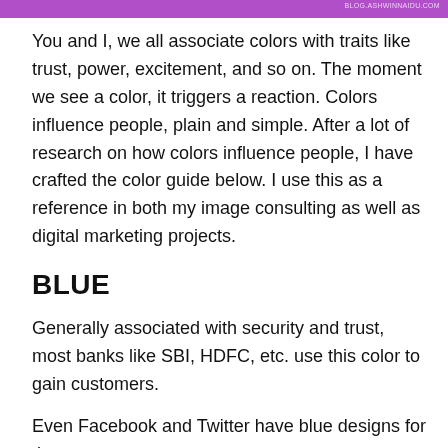You and I, we all associate colors with traits like trust, power, excitement, and so on. The moment we see a color, it triggers a reaction. Colors influence people, plain and simple. After a lot of research on how colors influence people, I have crafted the color guide below. I use this as a reference in both my image consulting as well as digital marketing projects.
BLUE
Generally associated with security and trust, most banks like SBI, HDFC, etc. use this color to gain customers.
Even Facebook and Twitter have blue designs for the